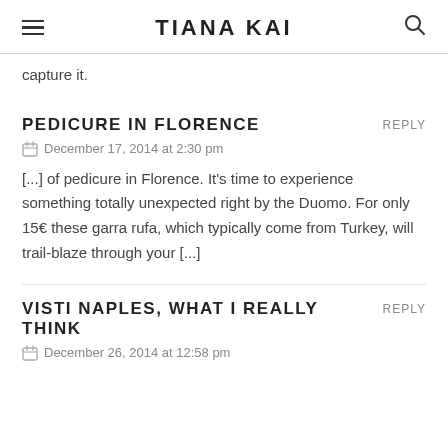TIANA KAI
capture it.
PEDICURE IN FLORENCE
December 17, 2014 at 2:30 pm
[...] of pedicure in Florence. It's time to experience something totally unexpected right by the Duomo. For only 15€ these garra rufa, which typically come from Turkey, will trail-blaze through your [...]
VISTI NAPLES, WHAT I REALLY THINK
December 26, 2014 at 12:58 pm